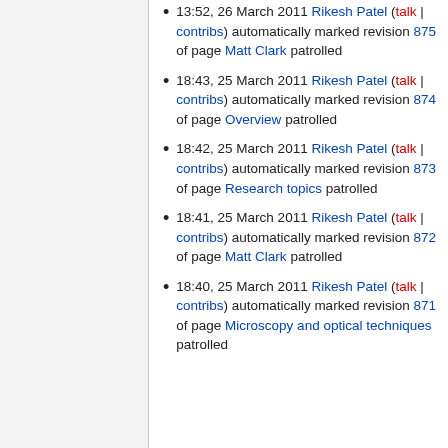13:52, 26 March 2011 Rikesh Patel (talk | contribs) automatically marked revision 875 of page Matt Clark patrolled
18:43, 25 March 2011 Rikesh Patel (talk | contribs) automatically marked revision 874 of page Overview patrolled
18:42, 25 March 2011 Rikesh Patel (talk | contribs) automatically marked revision 873 of page Research topics patrolled
18:41, 25 March 2011 Rikesh Patel (talk | contribs) automatically marked revision 872 of page Matt Clark patrolled
18:40, 25 March 2011 Rikesh Patel (talk | contribs) automatically marked revision 871 of page Microscopy and optical techniques patrolled